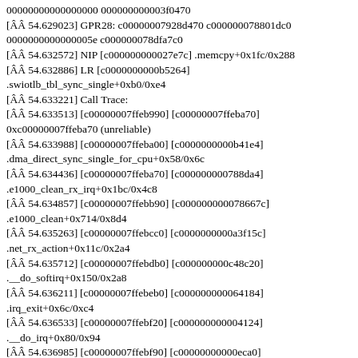00000000000000000 000000000003f0470
[ÂÂ 54.629023] GPR28: c00000007928d470 c000000078801dc0
0000000000000005e c000000078dfa7c0
[ÂÂ 54.632572] NIP [c000000000027e7c] .memcpy+0x1fc/0x288
[ÂÂ 54.632886] LR [c0000000000b5264]
.swiotlb_tbl_sync_single+0xb0/0xe4
[ÂÂ 54.633221] Call Trace:
[ÂÂ 54.633513] [c00000007ffeb990] [c00000007ffeba70]
0xc00000007ffeba70 (unreliable)
[ÂÂ 54.633988] [c00000007ffeba00] [c0000000000b41e4]
.dma_direct_sync_single_for_cpu+0x58/0x6c
[ÂÂ 54.634436] [c00000007ffeba70] [c000000000788da4]
.e1000_clean_rx_irq+0x1bc/0x4c8
[ÂÂ 54.634857] [c00000007ffebb90] [c000000000078667c]
.e1000_clean+0x714/0x8d4
[ÂÂ 54.635263] [c00000007ffebcc0] [c0000000000a3f15c]
.net_rx_action+0x11c/0x2a4
[ÂÂ 54.635712] [c00000007ffebdb0] [c000000000c48c20]
.__do_softirq+0x150/0x2a8
[ÂÂ 54.636211] [c00000007ffebeb0] [c000000000064184]
.irq_exit+0x6c/0xc4
[ÂÂ 54.636533] [c00000007ffebf20] [c000000000004124]
.__do_irq+0x80/0x94
[ÂÂ 54.636985] [c00000007ffebf90] [c00000000000eca0]
.call_do_irq+0x14/0x24
[ÂÂ 54.637371] [c00000007c86fd80] [c000000000000041c0]